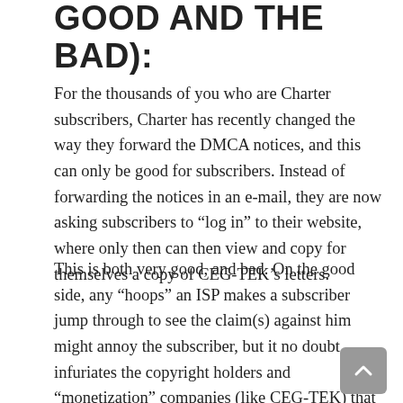GOOD AND THE BAD):
For the thousands of you who are Charter subscribers, Charter has recently changed the way they forward the DMCA notices, and this can only be good for subscribers. Instead of forwarding the notices in an e-mail, they are now asking subscribers to “log in” to their website, where only then can then view and copy for themselves a copy of CEG-TEK’s letters.
This is both very good, and bad. On the good side, any “hoops” an ISP makes a subscriber jump through to see the claim(s) against him might annoy the subscriber, but it no doubt infuriates the copyright holders and “monetization” companies (like CEG-TEK) that rely on them seeing their DMCA notices to provide their copyright holder clients their dirty money (I could have said “ill-gotten gains,” but emotionally, calling it “dirty